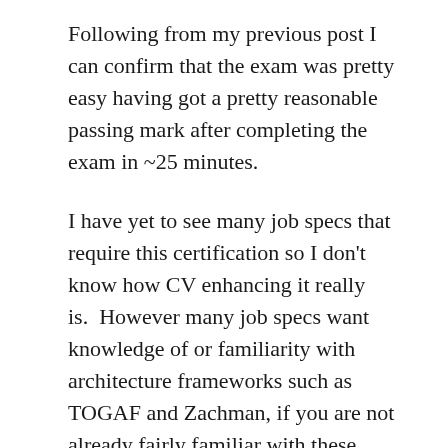Following from my previous post I can confirm that the exam was pretty easy having got a pretty reasonable passing mark after completing the exam in ~25 minutes.
I have yet to see many job specs that require this certification so I don't know how CV enhancing it really is.  However many job specs want knowledge of or familiarity with architecture frameworks such as TOGAF and Zachman, if you are not already fairly familiar with these then this course does provide a good overview and comparison of some frameworks.
Overall my assessment of the course / exam is as before – I think well worth while from the